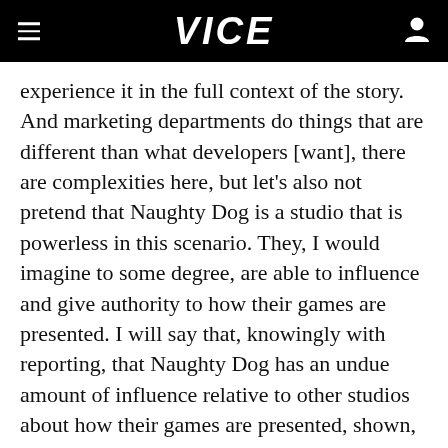VICE
experience it in the full context of the story. And marketing departments do things that are different than what developers [want], there are complexities here, but let's also not pretend that Naughty Dog is a studio that is powerless in this scenario. They, I would imagine to some degree, are able to influence and give authority to how their games are presented. I will say that, knowingly with reporting, that Naughty Dog has an undue amount of influence relative to other studios about how their games are presented, shown, talked about.